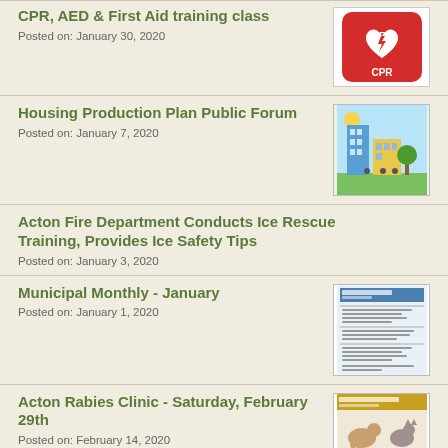CPR, AED & First Aid training class
Posted on: January 30, 2020
[Figure (illustration): Red AED CPR icon with heart and lightning bolt]
Housing Production Plan Public Forum
Posted on: January 7, 2020
[Figure (illustration): Colorful illustration of buildings and park with people]
Acton Fire Department Conducts Ice Rescue Training, Provides Ice Safety Tips
Posted on: January 3, 2020
Municipal Monthly - January
Posted on: January 1, 2020
[Figure (illustration): Thumbnail of Municipal Monthly newsletter document]
Acton Rabies Clinic - Saturday, February 29th
Posted on: February 14, 2020
[Figure (illustration): Thumbnail of Acton Rabies Clinic flyer with animals]